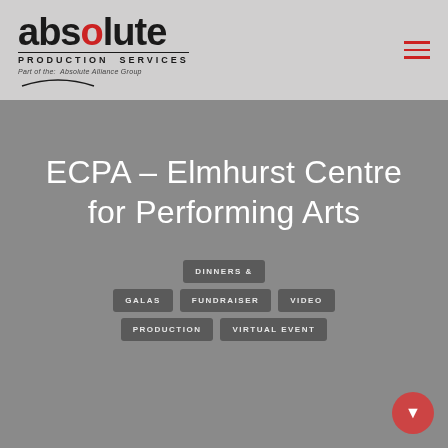[Figure (logo): Absolute Production Services logo with red 'o', tagline 'Part of the: Absolute Alliance Group' and arc graphic]
ECPA – Elmhurst Centre for Performing Arts
DINNERS &
GALAS
FUNDRAISER
VIDEO
PRODUCTION
VIRTUAL EVENT